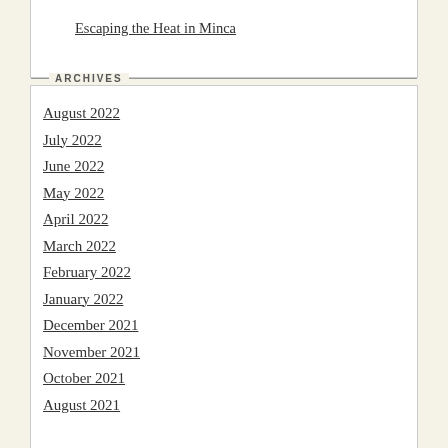Escaping the Heat in Minca
ARCHIVES
August 2022
July 2022
June 2022
May 2022
April 2022
March 2022
February 2022
January 2022
December 2021
November 2021
October 2021
August 2021